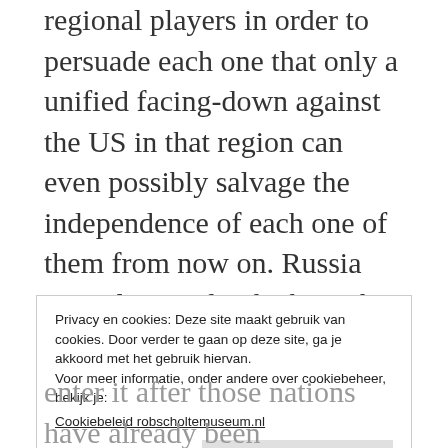regional players in order to persuade each one that only a unified facing-down against the US in that region can even possibly salvage the independence of each one of them from now on. Russia may also need to be brought into the arrangement as a protector of China, just in case the US turns out to be uncompromising in its intention to take over the entire world. Either Russia will soon enter this new World War that the UK US regimes are already waging, or else Russia will be forced to enter it only after Russia's
Privacy en cookies: Deze site maakt gebruik van cookies. Door verder te gaan op deze site, ga je akkoord met het gebruik hiervan.
Voor meer informatie, onder andere over cookiebeheer, bekijk je:
Cookiebeleid robscholtemuseum.nl
Sluiten en bevestigen
enter it after those nations have already been